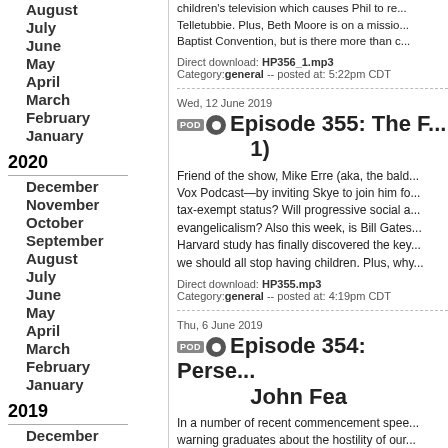August
July
June
May
April
March
February
January
2020
December
November
October
September
August
July
June
May
April
March
February
January
2019
December
November
October
September
August
July
June
May
April
children's television which causes Phil to re... Telletubbie. Plus, Beth Moore is on a missio... Baptist Convention, but is there more than c...
Direct download: HP356_1.mp3
Category: general -- posted at: 5:22pm CDT
Episode 355: The F... 1)
Friend of the show, Mike Erre (aka, the bald... Vox Podcast—by inviting Skye to join him fo... tax-exempt status? Will progressive social a... evangelicalism? Also this week, is Bill Gates... Harvard study has finally discovered the key... we should all stop having children. Plus, why...
Direct download: HP355.mp3
Category: general -- posted at: 4:19pm CDT
Episode 354: Perse... John Fea
In a number of recent commencement spee... warning graduates about the hostility of our... what Pence gets right, and what he gets wro... his theory about why regular church attende... evangelical activist is guilty of "astroturfing" l... states passing abortion restrictions. And is c...
Direct download: HP354.mp3
Category: general -- posted at: 12:06pm CDT